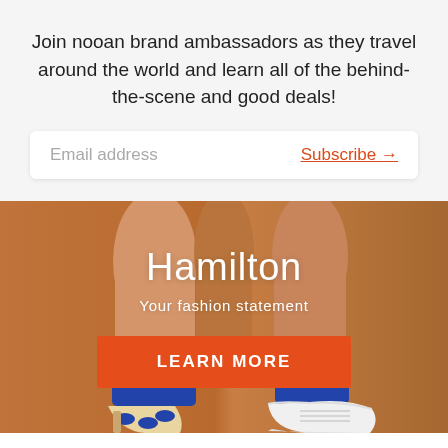Join nooan brand ambassadors as they travel around the world and learn all of the behind-the-scene and good deals!
Email address
Subscribe →
[Figure (photo): Photo of two people's legs wearing blue socks — one in high heels with blue and white pattern, one in white sneakers — against an orange/brown background]
Hamilton
Your fashion statement
LEARN MORE